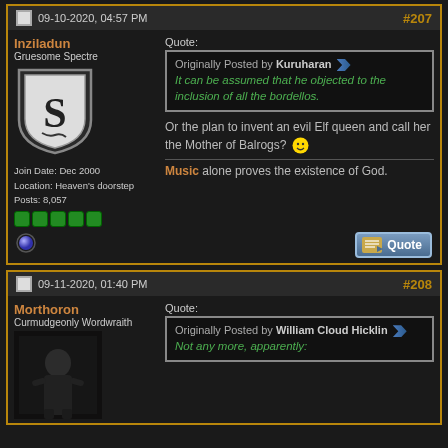09-10-2020, 04:57 PM #207
Inziladun
Gruesome Spectre
Join Date: Dec 2000
Location: Heaven's doorstep
Posts: 8,057
Quote:
Originally Posted by Kuruharan
It can be assumed that he objected to the inclusion of all the bordellos.
Or the plan to invent an evil Elf queen and call her the Mother of Balrogs?
Music alone proves the existence of God.
09-11-2020, 01:40 PM #208
Morthoron
Curmudgeonly Wordwraith
Quote:
Originally Posted by William Cloud Hicklin
Not any more, apparently: